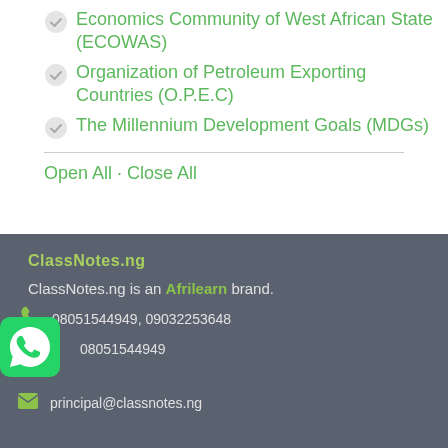Economics Community of West African State (ECOWAS)
Organization of Petroleum Exporting Countries (O.P.E.C)
The Millennium Development Goals (MDGs)
Open All · Close All
[Figure (logo): ClassNotes.ng logo in green text]
ClassNotes.ng is an Afrilearn brand.
08051544949, 09032253648
08051544949
principal@classnotes.ng